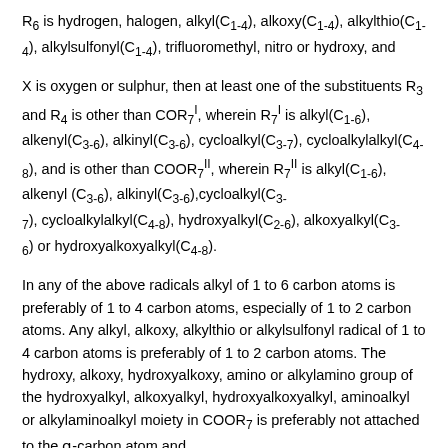R6 is hydrogen, halogen, alkyl(C1-4), alkoxy(C1-4), alkylthio(C1-4), alkylsulfonyl(C1-4), trifluoromethyl, nitro or hydroxy, and
X is oxygen or sulphur, then at least one of the substituents R3 and R4 is other than COR7 I, wherein R7 I is alkyl(C1-6), alkenyl(C3-6), alkinyl(C3-6), cycloalkyl(C3-7), cycloalkylalkyl(C4-8), and is other than COOR7 II, wherein R7 II is alkyl(C1-6), alkenyl (C3-6), alkinyl(C3-6),cycloalkyl(C3-7), cycloalkylalkyl(C4-8), hydroxyalkyl(C2-6), alkoxyalkyl(C3-6) or hydroxyalkoxyalkyl(C4-8).
In any of the above radicals alkyl of 1 to 6 carbon atoms is preferably of 1 to 4 carbon atoms, especially of 1 to 2 carbon atoms. Any alkyl, alkoxy, alkylthio or alkylsulfonyl radical of 1 to 4 carbon atoms is preferably of 1 to 2 carbon atoms. The hydroxy, alkoxy, hydroxyalkoxy, amino or alkylamino group of the hydroxyalkyl, alkoxyalkyl, hydroxyalkoxyalkyl, aminoalkyl or alkylaminoalkyl moiety in COOR7 is preferably not attached to the α-carbon atom and